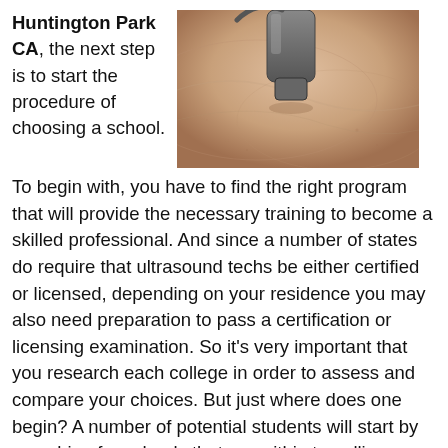Huntington Park CA, the next step is to start the procedure of choosing a school.
[Figure (photo): Close-up photo of an ultrasound probe being applied to human skin]
To begin with, you have to find the right program that will provide the necessary training to become a skilled professional. And since a number of states do require that ultrasound techs be either certified or licensed, depending on your residence you may also need preparation to pass a certification or licensing examination. So it’s very important that you research each college in order to assess and compare your choices. But just where does one begin? A number of potential students will start by searching for schools that are within travelling distance of their residences and then by comparing tuition. Certainly cost and location must be considered when making a decision, but there are additional significant factors also. Such as, if the ultrasound technician schools have earned accreditation or if they